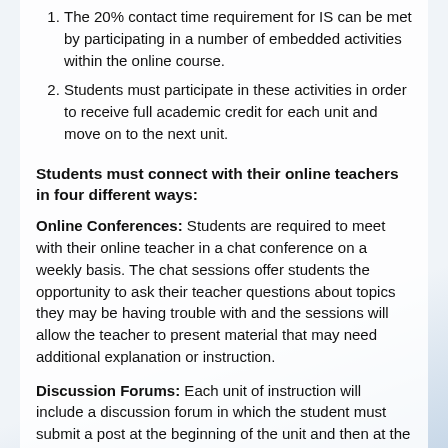The 20% contact time requirement for IS can be met by participating in a number of embedded activities within the online course.
Students must participate in these activities in order to receive full academic credit for each unit and move on to the next unit.
Students must connect with their online teachers in four different ways:
Online Conferences: Students are required to meet with their online teacher in a chat conference on a weekly basis. The chat sessions offer students the opportunity to ask their teacher questions about topics they may be having trouble with and the sessions will allow the teacher to present material that may need additional explanation or instruction.
Discussion Forums: Each unit of instruction will include a discussion forum in which the student must submit a post at the beginning of the unit and then at the conclusion of the